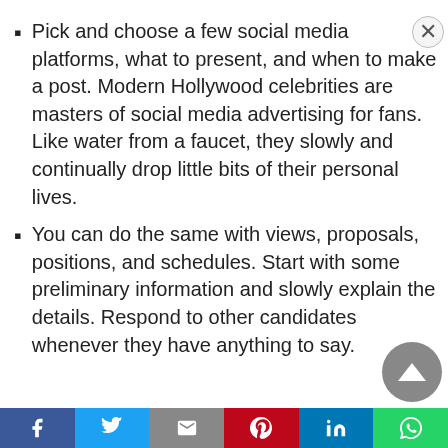Pick and choose a few social media platforms, what to present, and when to make a post. Modern Hollywood celebrities are masters of social media advertising for fans. Like water from a faucet, they slowly and continually drop little bits of their personal lives.
You can do the same with views, proposals, positions, and schedules. Start with some preliminary information and slowly explain the details. Respond to other candidates whenever they have anything to say.